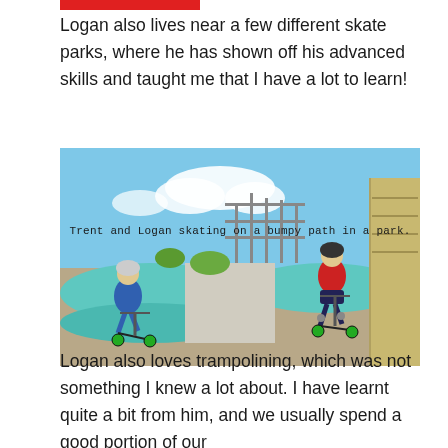Logan also lives near a few different skate parks, where he has shown off his advanced skills and taught me that I have a lot to learn!
[Figure (photo): Two boys riding scooters on a bumpy/wavy path at a skate park. One boy on the left leans forward on a green scooter, wearing blue shorts and a white helmet. The other boy on the right wears a red shirt and black helmet, riding a green scooter on an elevated teal-colored mound. Background shows trees, playground structures, and blue sky with clouds.]
Trent and Logan skating on a bumpy path in a park.
Logan also loves trampolining, which was not something I knew a lot about. I have learnt quite a bit from him, and we usually spend a good portion of our